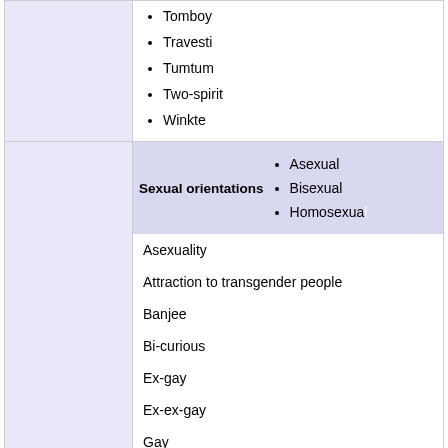Tomboy
Travesti
Tumtum
Two-spirit
Winkte
| Sexual orientations |  |
| --- | --- |
| Asexual |
| Bisexual |
| Homosexual |
Asexuality
Attraction to transgender people
Banjee
Bi-curious
Ex-gay
Ex-ex-gay
Gay
Gay men
Heteroflexible
Sexual identities